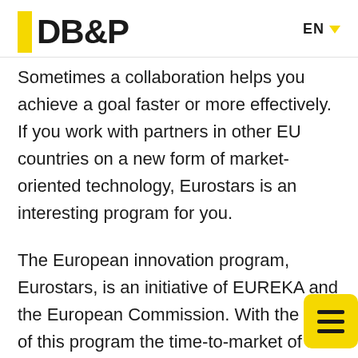DB&P | EN
Sometimes a collaboration helps you achieve a goal faster or more effectively. If you work with partners in other EU countries on a new form of market-oriented technology, Eurostars is an interesting program for you.
The European innovation program, Eurostars, is an initiative of EUREKA and the European Commission. With the help of this program the time-to-market of new technologies can be shortened, and technical risks can be